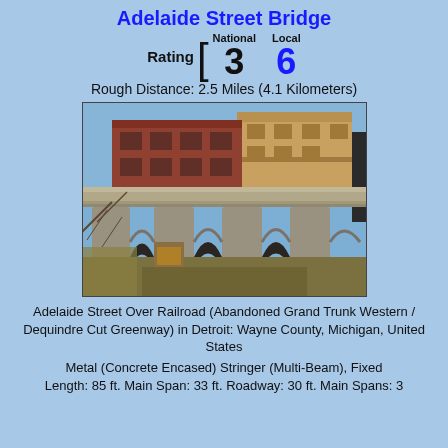Adelaide Street Bridge
Rating [ National 3  Local 6
Rough Distance: 2.5 Miles (4.1 Kilometers)
[Figure (photo): Photograph of the Adelaide Street Bridge, a concrete bridge over an abandoned railroad cut (Dequindre Cut Greenway) in Detroit. The bridge features multiple arched spans with concrete piers. In the background are brick and tan industrial buildings. The foreground shows overgrown vegetation and graffiti on the bridge abutments.]
Adelaide Street Over Railroad (Abandoned Grand Trunk Western / Dequindre Cut Greenway) in Detroit: Wayne County, Michigan, United States
Metal (Concrete Encased) Stringer (Multi-Beam), Fixed
Length: 85 ft. Main Span: 33 ft. Roadway: 30 ft. Main Spans: 3